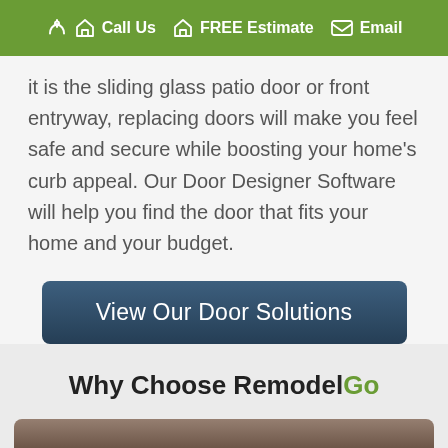Call Us   FREE Estimate   Email
it is the sliding glass patio door or front entryway, replacing doors will make you feel safe and secure while boosting your home's curb appeal. Our Door Designer Software will help you find the door that fits your home and your budget.
[Figure (other): Button: View Our Door Solutions]
Why Choose RemodelGo
[Figure (photo): Partial photo strip at bottom of page, appears to be a door-related image]